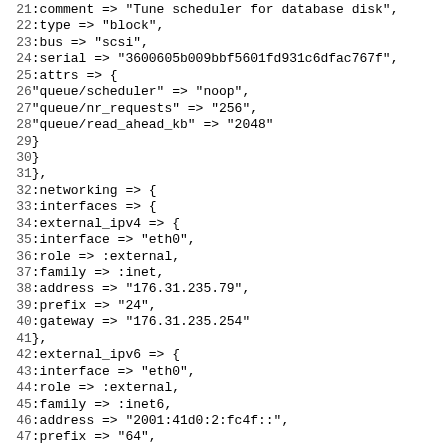Code listing lines 21–52 showing configuration hash with comment, type, bus, serial, attrs (queue/scheduler, queue/nr_requests, queue/read_ahead_kb), networking interfaces (external_ipv4: interface eth0, role external, family inet, address 176.31.235.79, prefix 24, gateway 176.31.235.254; external_ipv6: interface eth0, role external, family inet6, address 2001:41d0:2:fc4f::, prefix 64, gateway fe80::12bd:18ff:fee5:2280), and :postgresql =>